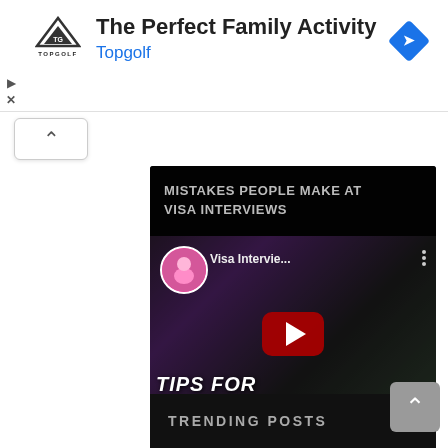[Figure (screenshot): Topgolf advertisement banner with logo, title 'The Perfect Family Activity', subtitle 'Topgolf', and a blue navigation diamond icon]
[Figure (screenshot): Scroll-up arrow button (chevron up) in a white rounded box]
[Figure (screenshot): Embedded YouTube video player showing 'MISTAKES PEOPLE MAKE AT VISA INTERVIEWS' with thumbnail, play button, and video controls showing 00:00 / 22:39]
TRENDING POSTS
[Figure (screenshot): Gray scroll-to-top button with chevron up icon at bottom right]